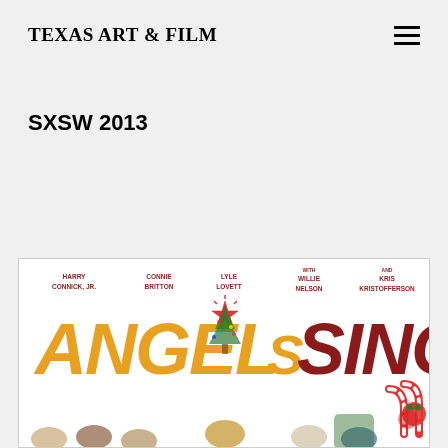TEXAS ART & FILM
SXSW 2013
[Figure (photo): Movie poster for 'Angels Sing' featuring Harry Connick Jr., Connie Britton, Lyle Lovett, Willie Nelson, and Kris Kristofferson. Large orange and dark red stylized title text reading 'ANGELS SING' with a Christmas star graphic. Cast members posed in front of a Christmas tree with candy canes visible.]